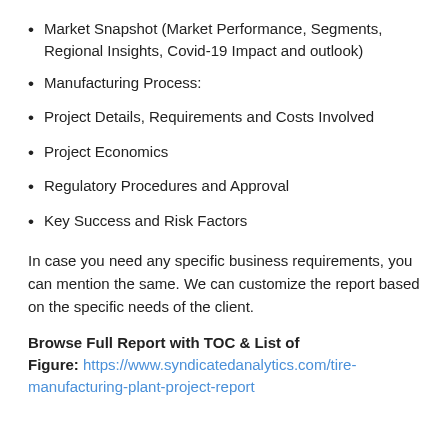Market Snapshot (Market Performance, Segments, Regional Insights, Covid-19 Impact and outlook)
Manufacturing Process:
Project Details, Requirements and Costs Involved
Project Economics
Regulatory Procedures and Approval
Key Success and Risk Factors
In case you need any specific business requirements, you can mention the same. We can customize the report based on the specific needs of the client.
Browse Full Report with TOC & List of Figure: https://www.syndicatedanalytics.com/tire-manufacturing-plant-project-report